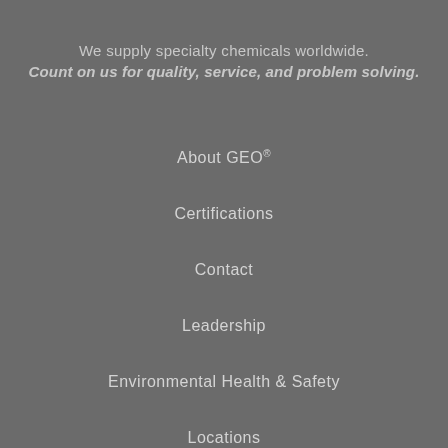We supply specialty chemicals worldwide.
Count on us for quality, service, and problem solving.
About GEO®
Certifications
Contact
Leadership
Environmental Health & Safety
Locations
News